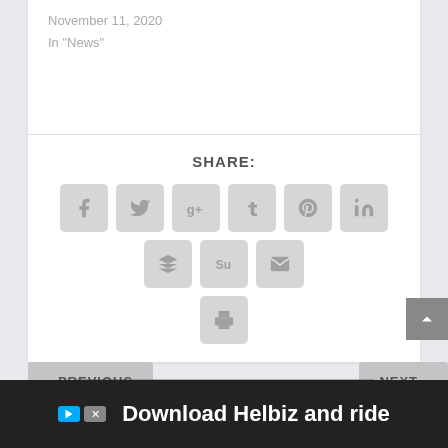November 11, 2020
In "News"
SHARE:
[Figure (screenshot): Social sharing icon buttons: Facebook, Twitter, Google+, Tumblr, Pinterest, LinkedIn, Buffer, StumbleUpon, Email, Print]
< PREVIOUS
NEXT >
No compatible source was found for this media.
Project Named: The...
...on Electrician Stub Tools
[Figure (photo): Advertisement banner: Download Helbiz and ride, showing bicycle handlebar image]